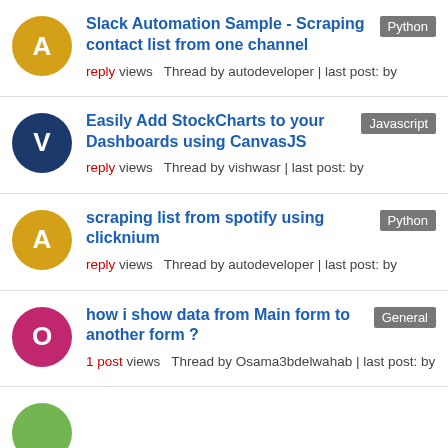Slack Automation Sample - Scraping contact list from one channel | Python | reply views Thread by autodeveloper | last post: by
Easily Add StockCharts to your Dashboards using CanvasJS | Javascript | reply views Thread by vishwasr | last post: by
scraping list from spotify using clicknium | Python | reply views Thread by autodeveloper | last post: by
how i show data from Main form to another form ? | General | 1 post views Thread by Osama3bdelwahab | last post: by